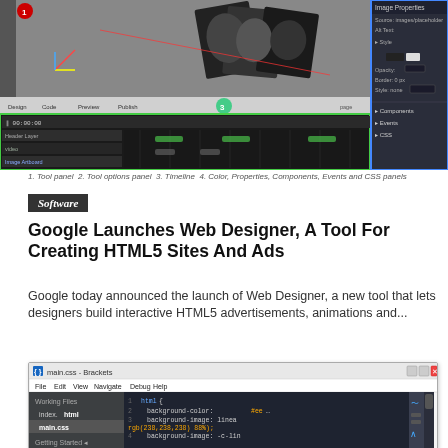[Figure (screenshot): Google Web Designer interface showing a canvas with photos, timeline panel, and properties side panel]
1. Tool panel  2. Tool options panel  3. Timeline  4. Color, Properties, Components, Events and CSS panels
Software
Google Launches Web Designer, A Tool For Creating HTML5 Sites And Ads
Google today announced the launch of Web Designer, a new tool that lets designers build interactive HTML5 advertisements, animations and...
[Figure (screenshot): Brackets code editor showing main.css file open with CSS code including background-color and background-image properties with rgb values]